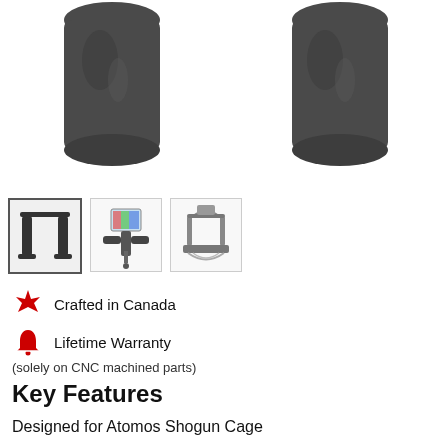[Figure (photo): Two black cylindrical camera rig handle grips shown on white background, one on the left and one on the right]
[Figure (photo): Three small product thumbnail images showing the handles in different configurations and assembled on a camera rig]
Crafted in Canada
Lifetime Warranty
(solely on CNC machined parts)
Key Features
Designed for Atomos Shogun Cage